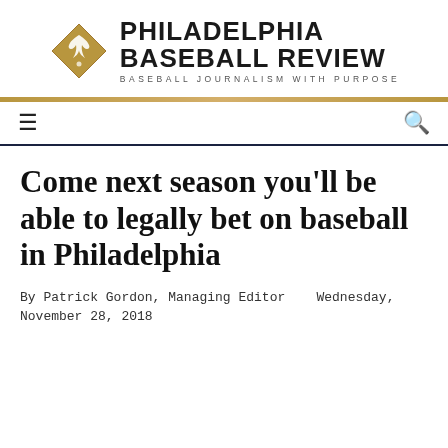[Figure (logo): Philadelphia Baseball Review logo with diamond shape containing an eagle silhouette and text 'PHILADELPHIA BASEBALL REVIEW - BASEBALL JOURNALISM WITH PURPOSE']
Come next season you'll be able to legally bet on baseball in Philadelphia
By Patrick Gordon, Managing Editor   Wednesday, November 28, 2018